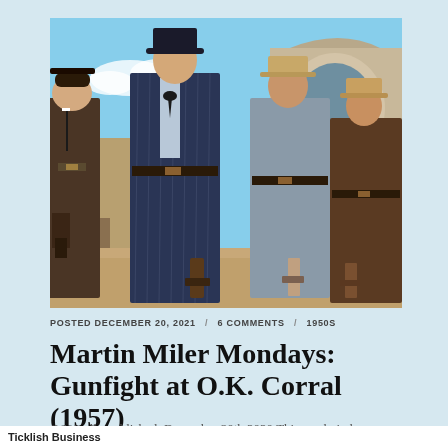[Figure (photo): Four men in Old West attire walking forward; they wear cowboy hats and suits, two holding guns at their sides, with a western town building behind them. Film still from a 1957 Western movie.]
POSTED DECEMBER 20, 2021 / 6 COMMENTS / 1950S
Martin Miler Mondays: Gunfight at O.K. Corral (1957)
Originally published: December 30th 2020 This week, in honor
Ticklish Business